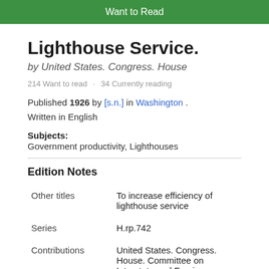[Figure (other): Green 'Want to Read' button bar]
Lighthouse Service.
by United States. Congress. House
214 Want to read · 34 Currently reading
Published 1926 by [s.n.] in Washington . Written in English
Subjects: Government productivity, Lighthouses
Edition Notes
|  |  |
| --- | --- |
| Other titles | To increase efficiency of lighthouse service |
| Series | H.rp.742 |
| Contributions | United States. Congress. House. Committee on Interstate and Foreign Commerce |
The Physical Object